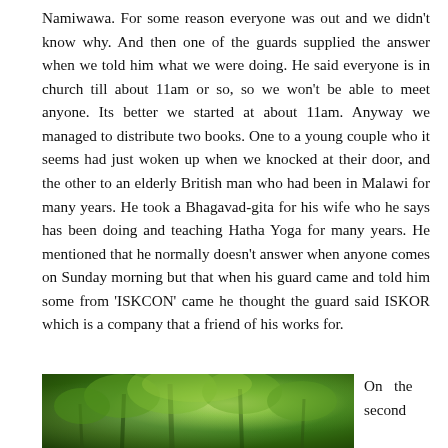Namiwawa. For some reason everyone was out and we didn't know why. And then one of the guards supplied the answer when we told him what we were doing. He said everyone is in church till about 11am or so, so we won't be able to meet anyone. Its better we started at about 11am. Anyway we managed to distribute two books. One to a young couple who it seems had just woken up when we knocked at their door, and the other to an elderly British man who had been in Malawi for many years. He took a Bhagavad-gita for his wife who he says has been doing and teaching Hatha Yoga for many years. He mentioned that he normally doesn't answer when anyone comes on Sunday morning but that when his guard came and told him some from 'ISKCON' came he thought the guard said ISKOR which is a company that a friend of his works for.
[Figure (photo): Outdoor photo showing lush green trees and vegetation]
On the second